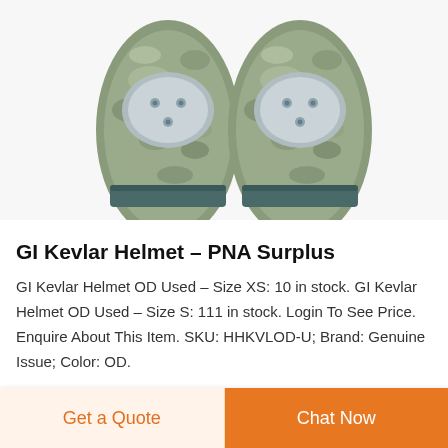[Figure (photo): Two military camouflage knee/elbow pads with grey hard cap inserts and teal/dark green velcro straps, shown from above on a white background]
GI Kevlar Helmet – PNA Surplus
GI Kevlar Helmet OD Used – Size XS: 10 in stock. GI Kevlar Helmet OD Used – Size S: 111 in stock. Login To See Price. Enquire About This Item. SKU: HHKVLOD-U; Brand: Genuine Issue; Color: OD.
Get a Quote
Chat Now